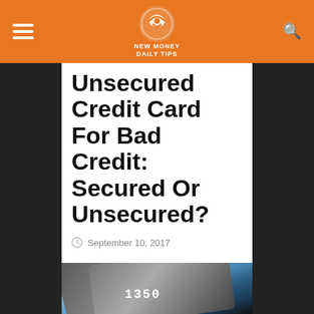New Money [logo] — navigation header with hamburger menu and search icon
Unsecured Credit Card For Bad Credit: Secured Or Unsecured?
September 10, 2017
[Figure (photo): Close-up photograph of a credit card showing partial card number digits, on a blue/grey background]